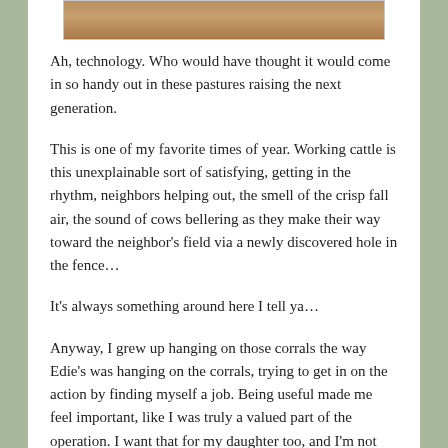[Figure (photo): Partial photo strip at top of page showing an outdoor/farm scene with earthy tones]
Ah, technology. Who would have thought it would come in so handy out in these pastures raising the next generation.
This is one of my favorite times of year. Working cattle is this unexplainable sort of satisfying, getting in the rhythm, neighbors helping out, the smell of the crisp fall air, the sound of cows bellering as they make their way toward the neighbor's field via a newly discovered hole in the fence…
It's always something around here I tell ya…
Anyway, I grew up hanging on those corrals the way Edie's was hanging on the corrals, trying to get in on the action by finding myself a job. Being useful made me feel important, like I was truly a valued part of the operation. I want that for my daughter too, and I'm not sure you can start them on it all too early.